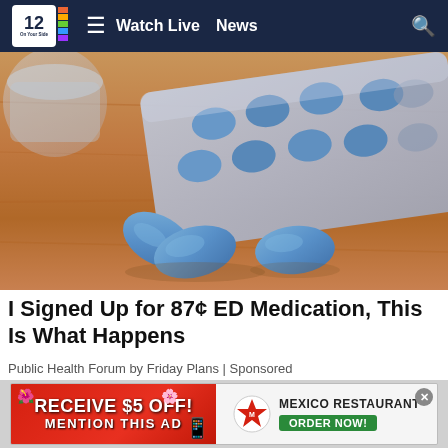NBC 12 | Watch Live  News
[Figure (photo): Blue ED medication pills (sildenafil) on a wooden surface with a blister pack in the background and a glass of water]
I Signed Up for 87¢ ED Medication, This Is What Happens
Public Health Forum by Friday Plans | Sponsored
[Figure (infographic): Advertisement banner: RECEIVE $5 OFF! MENTION THIS AD — Mexico Restaurant ORDER NOW!]